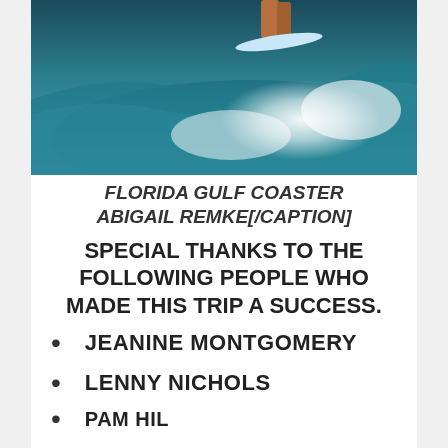[Figure (photo): A surfer riding a wave on the Florida Gulf Coast, with white sea spray visible in the background.]
FLORIDA GULF COASTER ABIGAIL REMKE[/CAPTION]
SPECIAL THANKS TO THE FOLLOWING PEOPLE WHO MADE THIS TRIP A SUCCESS.
JEANINE MONTGOMERY
LENNY NICHOLS
PAMHILL (partial)